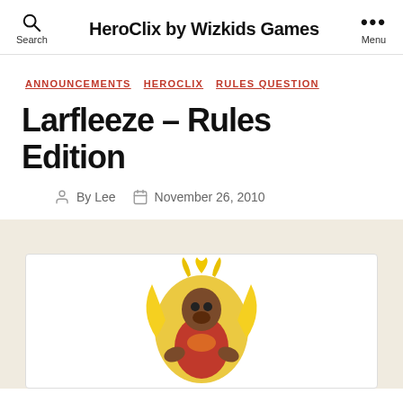HeroClix by Wizkids Games
ANNOUNCEMENTS
HEROCLIX
RULES QUESTION
Larfleeze – Rules Edition
By Lee   November 26, 2010
[Figure (photo): A HeroClix figurine of Larfleeze, a DC Comics character, shown from the waist up. The figure has brown skin, wears a red and orange costume, and has yellow flame-like appendages around it. The figurine is displayed on a white card background within a beige/cream section.]